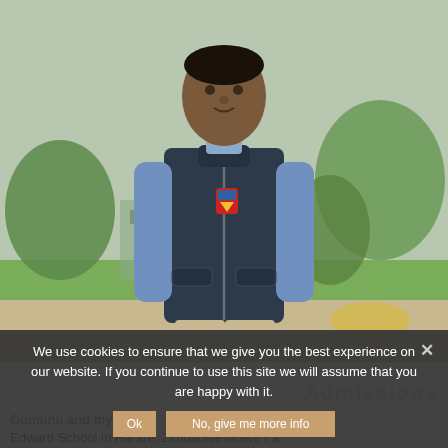[Figure (photo): A man wearing a dark navy sleeveless puffer vest with a school crest/badge on the chest, over a light blue long-sleeve shirt, and khaki trousers. He is standing outdoors with green trees and a lawn in the background.]
We use cookies to ensure that we give you the best experience on our website. If you continue to use this site we will assume that you are happy with it.
Admissions
Gumunu and my te...
Edward School in Harare, Zimbabwe where I a...